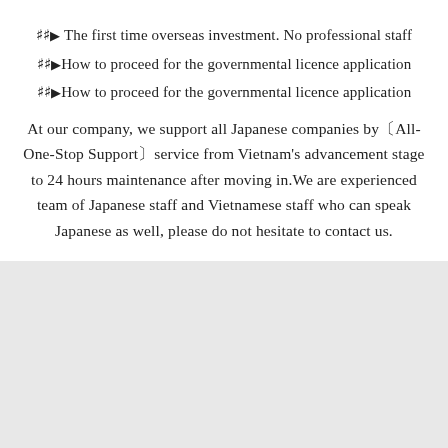☞ The first time overseas investment. No professional staff
☞How to proceed for the governmental licence application
☞How to proceed for the governmental licence application
At our company, we support all Japanese companies by〔All-One-Stop Support〕service from Vietnam's advancement stage to 24 hours maintenance after moving in. We are experienced team of Japanese staff and Vietnamese staff who can speak Japanese as well, please do not hesitate to contact us.